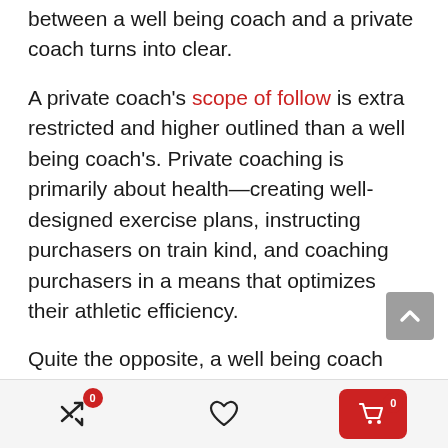between a well being coach and a private coach turns into clear.
A private coach's scope of follow is extra restricted and higher outlined than a well being coach's. Private coaching is primarily about health—creating well-designed exercise plans, instructing purchasers on train kind, and coaching purchasers in a means that optimizes their athletic efficiency.
Quite the opposite, a well being coach has a a lot wider vary of points to deal with, akin to stress administration, sleep hygiene, and varied life-style habits (e.g., alcohol and nicotine use).
Navigation bar with icons: shuffle/arrow (badge 0), heart, cart (badge 0)